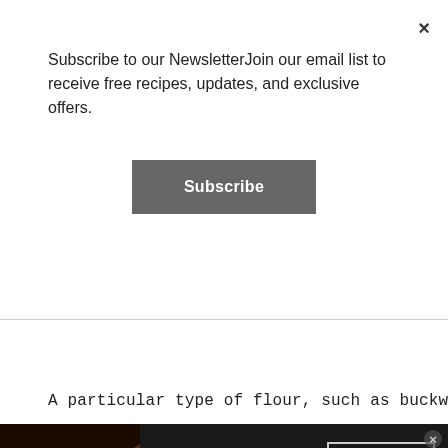Subscribe to our NewsletterJoin our email list to receive free recipes, updates, and exclusive offers.
Subscribe
A particular type of flour, such as buckwheat
[Figure (infographic): Seamless food delivery advertisement banner with pizza image on the left, red Seamless logo in the center, and ORDER NOW button on the right with a close (x) button]